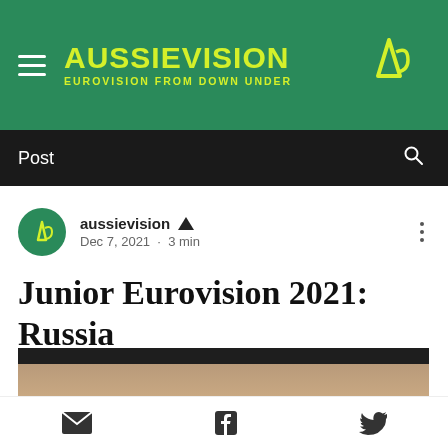AUSSIEVISION — EUROVISION FROM DOWN UNDER
Post
aussievision 👑
Dec 7, 2021 · 3 min
Junior Eurovision 2021: Russia
Updated: Dec 17, 2021
[Figure (photo): Partial image preview of article content, top portion visible]
Social share icons: email, Facebook, Twitter